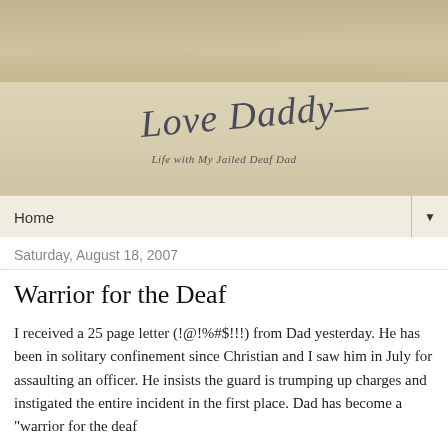[Figure (illustration): Aged parchment/paper background header image with handwritten cursive signature 'Love Daddy' and subtitle 'Life with My Jailed Deaf Dad']
Home ▼
Saturday, August 18, 2007
Warrior for the Deaf
I received a 25 page letter (!@!%#$!!!) from Dad yesterday. He has been in solitary confinement since Christian and I saw him in July for assaulting an officer. He insists the guard is trumping up charges and instigated the entire incident in the first place. Dad has become a "warrior for the deaf